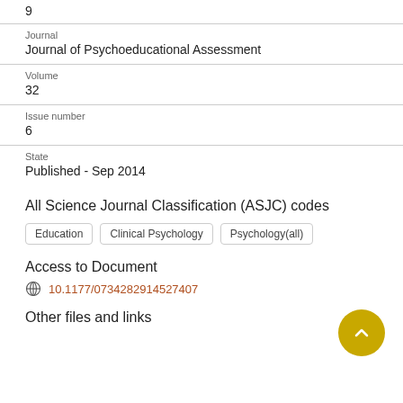9
Journal
Journal of Psychoeducational Assessment
Volume
32
Issue number
6
State
Published - Sep 2014
All Science Journal Classification (ASJC) codes
Education
Clinical Psychology
Psychology(all)
Access to Document
10.1177/0734282914527407
Other files and links